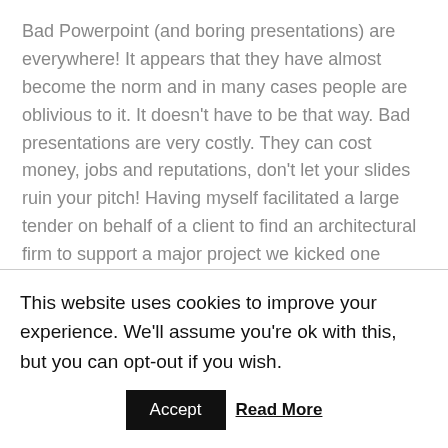Bad Powerpoint (and boring presentations) are everywhere! It appears that they have almost become the norm and in many cases people are oblivious to it. It doesn't have to be that way. Bad presentations are very costly. They can cost money, jobs and reputations, don't let your slides ruin your pitch! Having myself facilitated a large tender on behalf of a client to find an architectural firm to support a major project we kicked one supplier out at the very start of the process due to amongst
This website uses cookies to improve your experience. We'll assume you're ok with this, but you can opt-out if you wish.
Accept
Read More